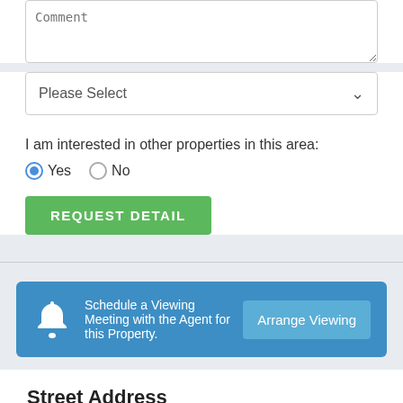[Figure (screenshot): Comment textarea input field with placeholder text 'Comment']
[Figure (screenshot): Dropdown select field with placeholder 'Please Select' and chevron arrow]
I am interested in other properties in this area:
[Figure (screenshot): Radio button group: Yes (selected, blue) and No (unselected)]
[Figure (screenshot): Green button labeled 'REQUEST DETAIL']
[Figure (infographic): Blue banner with bell icon, text 'Schedule a Viewing Meeting with the Agent for this Property.' and 'Arrange Viewing' button]
Street Address
London, E10 5DH